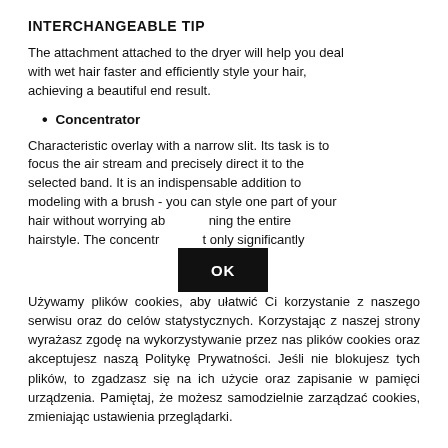INTERCHANGEABLE TIP
The attachment attached to the dryer will help you deal with wet hair faster and efficiently style your hair, achieving a beautiful end result.
Concentrator
Characteristic overlay with a narrow slit. Its task is to focus the air stream and precisely direct it to the selected band. It is an indispensable addition to modeling with a brush - you can style one part of your hair without worrying ab[OK overlay]ning the entire hairstyle. The concentr[OK overlay]t only significantly
Używamy plików cookies, aby ułatwić Ci korzystanie z naszego serwisu oraz do celów statystycznych. Korzystając z naszej strony wyrażasz zgodę na wykorzystywanie przez nas plików cookies oraz akceptujesz naszą Politykę Prywatności. Jeśli nie blokujesz tych plików, to zgadzasz się na ich użycie oraz zapisanie w pamięci urządzenia. Pamiętaj, że możesz samodzielnie zarządzać cookies, zmieniając ustawienia przeglądarki.